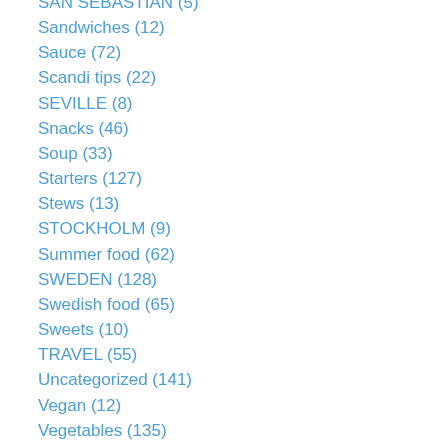SAN SEBASTIAN (5)
Sandwiches (12)
Sauce (72)
Scandi tips (22)
SEVILLE (8)
Snacks (46)
Soup (33)
Starters (127)
Stews (13)
STOCKHOLM (9)
Summer food (62)
SWEDEN (128)
Swedish food (65)
Sweets (10)
TRAVEL (55)
Uncategorized (141)
Vegan (12)
Vegetables (135)
VIETNAM (4)
Weekly (106)